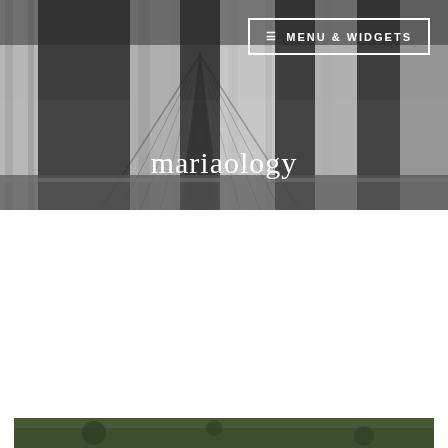[Figure (photo): Black and white forest scene with trees, used as hero background image for a blog called mariaology]
≡ MENU & WIDGETS
mariaology
Month: October 2015
Privacy & Cookies: This site uses cookies. By continuing to use this website, you agree to their use.
To find out more, including how to control cookies, see here: Cookie Policy
[Figure (photo): Partial green outdoor photo visible at the bottom of the page]